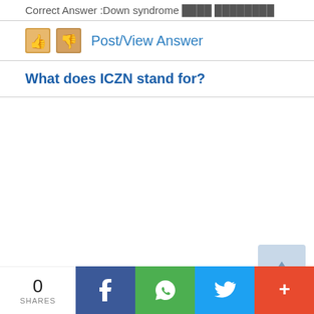Correct Answer :Down syndrome ████ ████████
[Figure (other): Thumbs up and thumbs down icons with Post/View Answer link]
What does ICZN stand for?
0 SHARES
[Figure (other): Social share bar with Facebook, WhatsApp, Twitter, and More buttons]